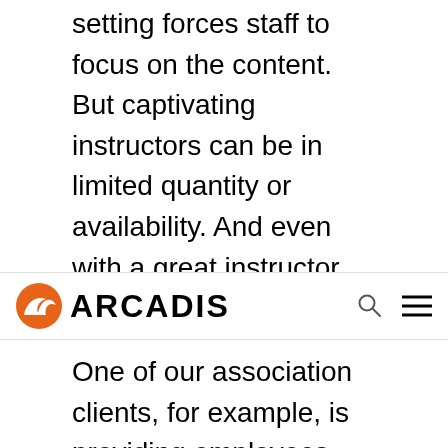setting forces staff to focus on the content. But captivating instructors can be in limited quantity or availability. And even with a great instructor, classroom-style trainings might not connect with every learning style. E-learning can give...
[Figure (logo): Arcadis logo — orange bird/wing icon on the left, bold black ARCADIS text to the right. Search and menu icons on the far right.]
One of our association clients, for example, is providing employees with reinforcement training for certification coursework. To keep the users engaged through three textbooks' worth of lessons, we leveraged interactive features, exciting visuals and professional sound design.
The variety of user-friendly components kept the content from getting stale. The sessions are now...